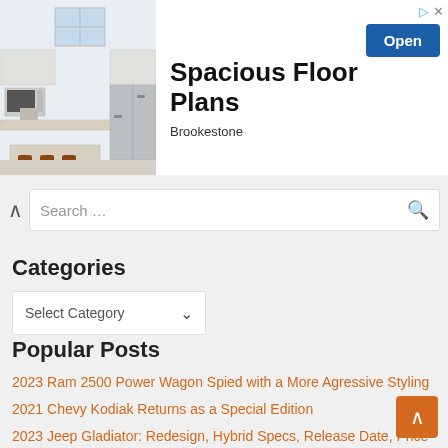[Figure (photo): Kitchen interior with white cabinets, stainless steel appliances, and marble countertop]
Spacious Floor Plans
Brookestone
Open
Search …
Categories
Select Category
Popular Posts
2023 Ram 2500 Power Wagon Spied with a More Agressive Styling
2021 Chevy Kodiak Returns as a Special Edition
2023 Jeep Gladiator: Redesign, Hybrid Specs, Release Date, Price